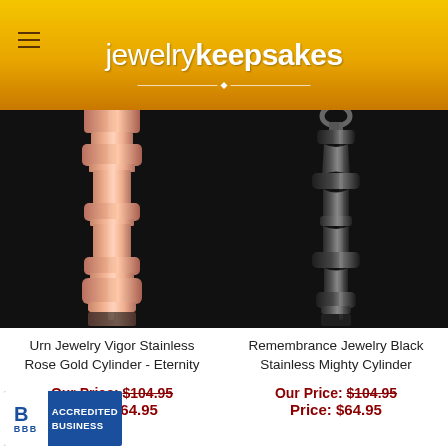jewelry keepsakes
[Figure (photo): Rose gold stainless cylinder urn jewelry pendant on black background with jewelrykeepsakes watermark]
[Figure (photo): Black stainless steel cylinder remembrance jewelry pendant on black background with jewelrykeepsakes watermark]
Urn Jewelry Vigor Stainless Rose Gold Cylinder - Eternity
Remembrance Jewelry Black Stainless Mighty Cylinder
Our Price: $104.95
Price: $64.95
Our Price: $104.95
Price: $64.95
[Figure (logo): BBB Accredited Business badge]